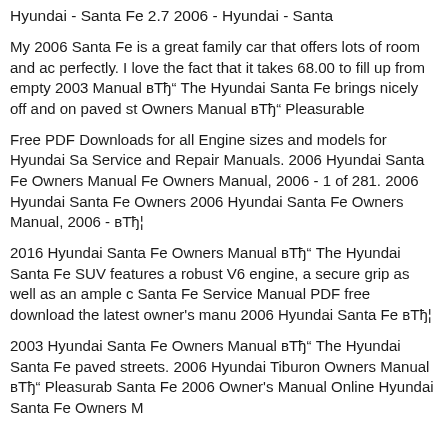Hyundai - Santa Fe 2.7 2006 - Hyundai - Santa
My 2006 Santa Fe is a great family car that offers lots of room and ac perfectly. I love the fact that it takes 68.00 to fill up from empty 2003 Manual вЂ" The Hyundai Santa Fe brings nicely off and on paved st Owners Manual вЂ" Pleasurable
Free PDF Downloads for all Engine sizes and models for Hyundai Sa Service and Repair Manuals. 2006 Hyundai Santa Fe Owners Manua Fe Owners Manual, 2006 - 1 of 281. 2006 Hyundai Santa Fe Owners 2006 Hyundai Santa Fe Owners Manual, 2006 - вЂ¦
2016 Hyundai Santa Fe Owners Manual вЂ" The Hyundai Santa Fe SUV features a robust V6 engine, a secure grip as well as an ample c Santa Fe Service Manual PDF free download the latest owner's manu 2006 Hyundai Santa Fe вЂ¦
2003 Hyundai Santa Fe Owners Manual вЂ" The Hyundai Santa Fe paved streets. 2006 Hyundai Tiburon Owners Manual вЂ" Pleasurab Santa Fe 2006 Owner's Manual Online Hyundai Santa Fe Owners M